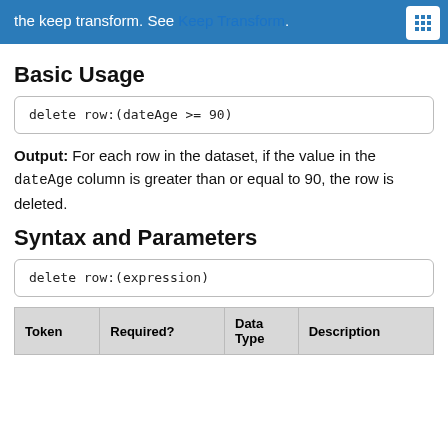the keep transform. See Keep Transform.
Basic Usage
Output: For each row in the dataset, if the value in the dateAge column is greater than or equal to 90, the row is deleted.
Syntax and Parameters
| Token | Required? | Data Type | Description |
| --- | --- | --- | --- |